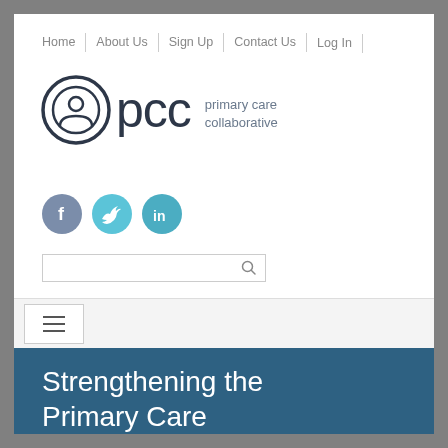Home | About Us | Sign Up | Contact Us | Log In
[Figure (logo): PCC primary care collaborative logo with circular person icon]
[Figure (infographic): Social media icons: Facebook (purple-grey circle), Twitter (light blue circle), LinkedIn (teal circle)]
[Figure (screenshot): Search input bar with magnifying glass icon]
[Figure (infographic): Hamburger menu icon (three horizontal lines) in a white box]
Strengthening the Primary Care